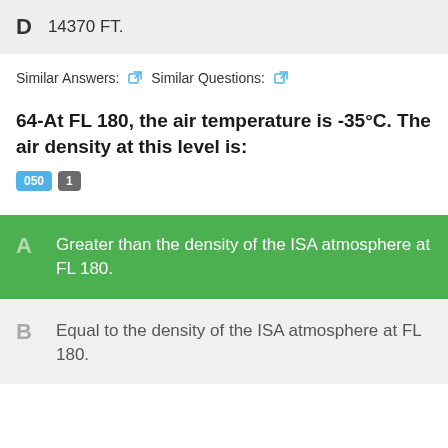D  14370 FT.
Similar Answers:  Similar Questions:
64-At FL 180, the air temperature is -35°C. The air density at this level is:
050  1
A  Greater than the density of the ISA atmosphere at FL 180.
B  Equal to the density of the ISA atmosphere at FL 180.